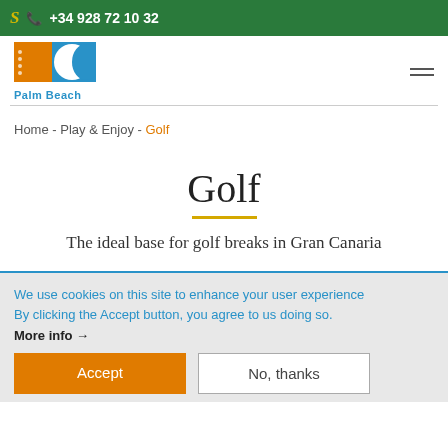+34 928 72 10 32
[Figure (logo): Palm Beach hotel logo with orange square and blue wave graphic, text 'Palm Beach' in blue]
Home - Play & Enjoy - Golf
Golf
The ideal base for golf breaks in Gran Canaria
We use cookies on this site to enhance your user experience By clicking the Accept button, you agree to us doing so. More info →
Accept
No, thanks